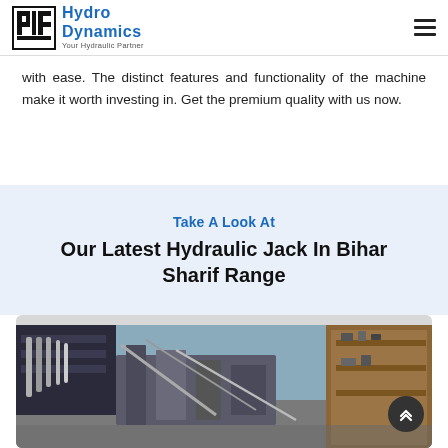Hydro Dynamics – Your Hydraulic Partner
with ease. The distinct features and functionality of the machine make it worth investing in. Get the premium quality with us now.
Take A Look At
Our Latest Hydraulic Jack In Bihar Sharif Range
[Figure (photo): Workshop interior showing hydraulic jack components and machinery on shelves and floor, blue walls visible in background]